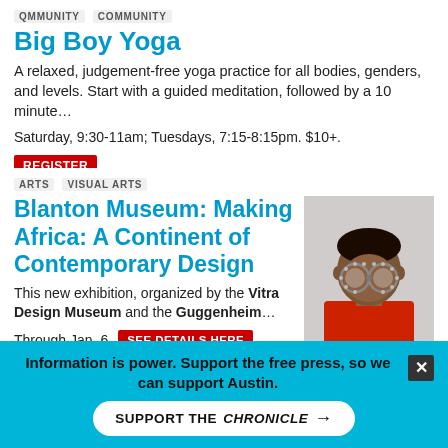QMMUNITY  COMMUNITY
Big Boy Yoga
A relaxed, judgement-free yoga practice for all bodies, genders, and levels. Start with a guided meditation, followed by a 10 minute…
Saturday, 9:30-11am; Tuesdays, 7:15-8:15pm. $10+.  REGISTER
Transform
ARTS  VISUAL ARTS
Blanton Museum: Making Africa: A Continent of Contemporary Design
This new exhibition, organized by the Vitra Design Museum and the Guggenheim…
Through Jan. 6  SEE DETAILS HERE
The Blanton Museum of Art
[Figure (photo): Portrait photo of a person wearing decorative metallic goggles/glasses and a red top]
Information is power. Support the free press, so we can support Austin.
SUPPORT THE CHRONICLE →